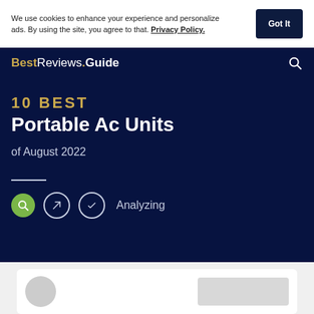We use cookies to enhance your experience and personalize ads. By using the site, you agree to that. Privacy Policy.
Got It
BestReviews.Guide
10 BEST Portable Ac Units
of August 2022
Analyzing
[Figure (other): Loading card placeholder with grey circle and grey rectangle]